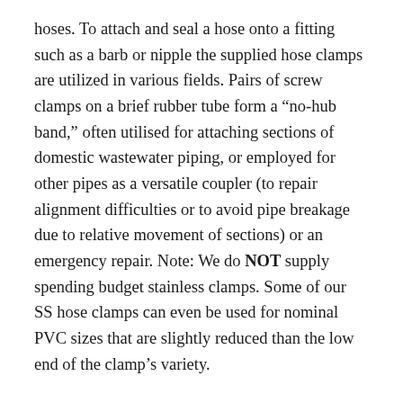hoses. To attach and seal a hose onto a fitting such as a barb or nipple the supplied hose clamps are utilized in various fields. Pairs of screw clamps on a brief rubber tube form a "no-hub band," often utilised for attaching sections of domestic wastewater piping, or employed for other pipes as a versatile coupler (to repair alignment difficulties or to avoid pipe breakage due to relative movement of sections) or an emergency repair. Note: We do NOT supply spending budget stainless clamps. Some of our SS hose clamps can even be used for nominal PVC sizes that are slightly reduced than the low end of the clamp's variety.
At higher pressures, especially with large hose sizes, the clamp would have to be unwieldy to be able to withstand the forces expanding it without permitting the hose to slide off the barb or a leak to type. Norflex and BiNorflex are clamps for added high grip clamping. Spring clamps